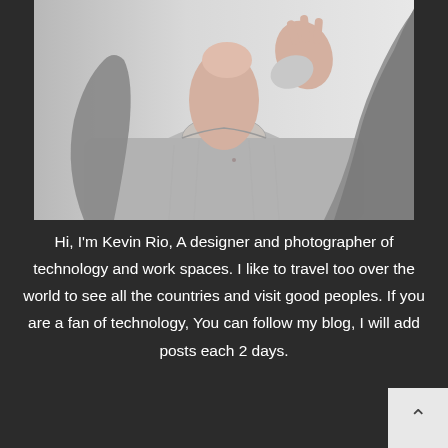[Figure (photo): A person wearing a light grey crew-neck sweater and an open denim jacket, photographed from the neck/chin down, hand raised near face, against a light background.]
Hi, I'm Kevin Rio, A designer and photographer of technology and work spaces. I like to travel too over the world to see all the countries and visit good peoples. If you are a fan of technology, You can follow my blog, I will add posts each 2 days.